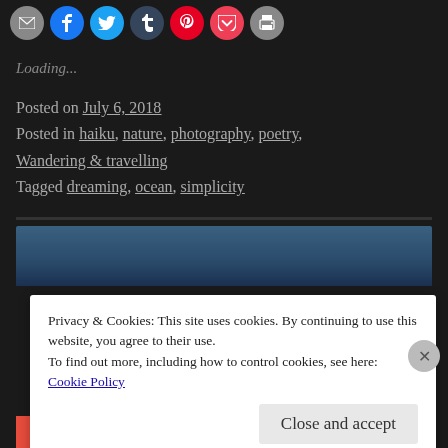[Figure (other): Row of social sharing icon buttons: email (grey), Facebook (blue), Twitter (light blue), Tumblr (dark blue), Pinterest (red), Pocket (pink-red), Print (grey)]
Loading...
Posted on July 6, 2018
Posted in haiku, nature, photography, poetry, Wandering & travelling
Tagged dreaming, ocean, simplicity
[Figure (photo): Partial photo of a blue sky with clouds, cropped — bottom portion obscured by cookie banner]
Privacy & Cookies: This site uses cookies. By continuing to use this website, you agree to their use.
To find out more, including how to control cookies, see here:
Cookie Policy
Close and accept